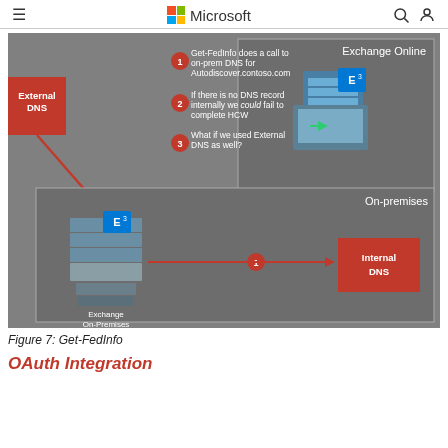Microsoft
[Figure (flowchart): Get-FedInfo diagram showing External DNS, Exchange Online (top right), Exchange On-Premises (bottom), and Internal DNS boxes. Numbered steps 1-3 explain the Get-FedInfo DNS lookup process. Red arrows show: step 3 arrow from External DNS down to Exchange On-Premises server, and step 1 arrow from Exchange On-Premises to Internal DNS.]
Figure 7: Get-FedInfo
OAuth Integration